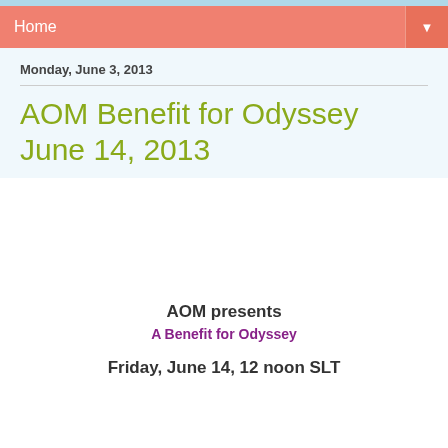Home
Monday, June 3, 2013
AOM Benefit for Odyssey June 14, 2013
AOM presents
A Benefit for Odyssey
Friday, June 14, 12 noon SLT